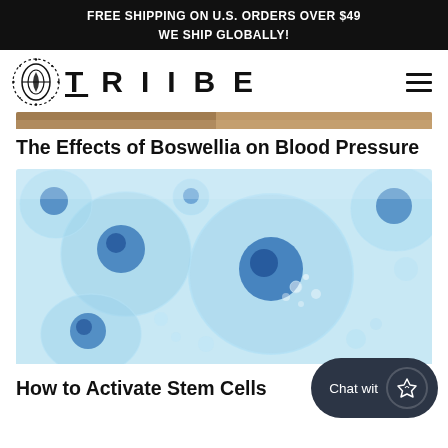FREE SHIPPING ON U.S. ORDERS OVER $49
WE SHIP GLOBALLY!
[Figure (logo): TRIIBE brand logo with decorative geometric icon on left and stylized text 'TRIIBE' with overline on the T]
[Figure (photo): Partial cropped top of a person's head/hair, warm tones]
The Effects of Boswellia on Blood Pressure
[Figure (photo): Close-up scientific illustration/photo of blue transparent stem cells with dark blue nuclei on light blue background]
How to Activate Stem Cells